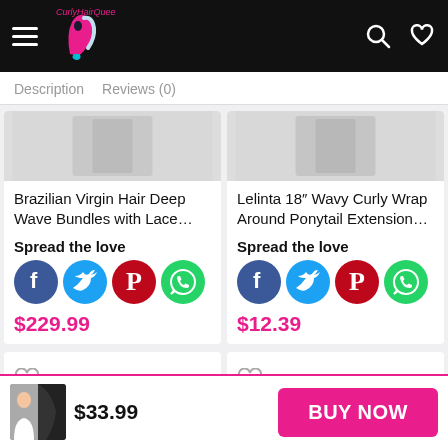CurlyHairQueen
Description   Reviews (0)
Brazilian Virgin Hair Deep Wave Bundles with Lace...
Spread the love
$229.99
Lelinta 18" Wavy Curly Wrap Around Ponytail Extension...
Spread the love
$12.39
$33.99   BUY NOW